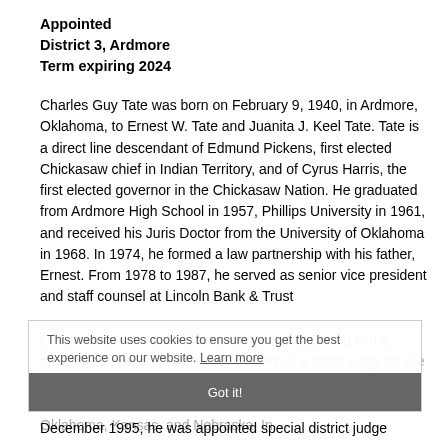Appointed
District 3, Ardmore
Term expiring 2024
Charles Guy Tate was born on February 9, 1940, in Ardmore, Oklahoma, to Ernest W. Tate and Juanita J. Keel Tate. Tate is a direct line descendant of Edmund Pickens, first elected Chickasaw chief in Indian Territory, and of Cyrus Harris, the first elected governor in the Chickasaw Nation. He graduated from Ardmore High School in 1957, Phillips University in 1961, and received his Juris Doctor from the University of Oklahoma in 1968. In 1974, he formed a law partnership with his father, Ernest. From 1978 to 1987, he served as senior vice president and staff counsel at Lincoln Bank & Trust Company of Ardmore, Oklahoma, before returning to the private practice of law. He was elected as a tribal judge for the Chickasaw Nation in 1987 and served one term. From 1988 to1995, he also served as tribal judge for numerous tribes in Oklahoma, Kansas, and Nebraska. In December 1995, he was appointed special district judge.